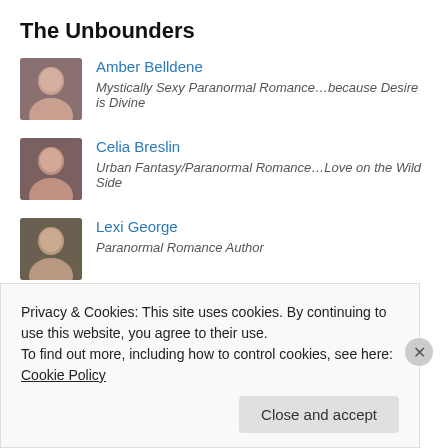The Unbounders
Amber Belldene — Mystically Sexy Paranormal Romance…because Desire is Divine
Celia Breslin — Urban Fantasy/Paranormal Romance…Love on the Wild Side
Lexi George — Paranormal Romance Author
Erica Hayes — Urban Fantasy Author
Privacy & Cookies: This site uses cookies. By continuing to use this website, you agree to their use.
To find out more, including how to control cookies, see here: Cookie Policy